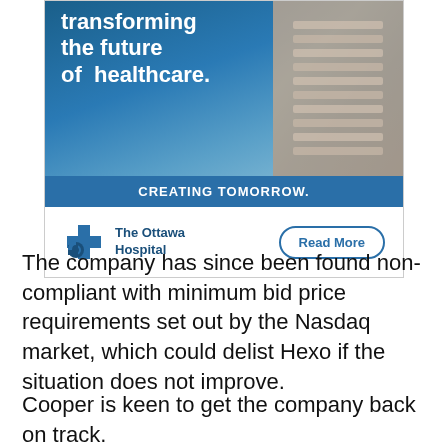[Figure (other): Advertisement for The Ottawa Hospital with text 'transforming the future of healthcare.' and 'CREATING TOMORROW.' with a Read More button and hospital logo]
The company has since been found non-compliant with minimum bid price requirements set out by the Nasdaq market, which could delist Hexo if the situation does not improve.
Cooper is keen to get the company back on track.